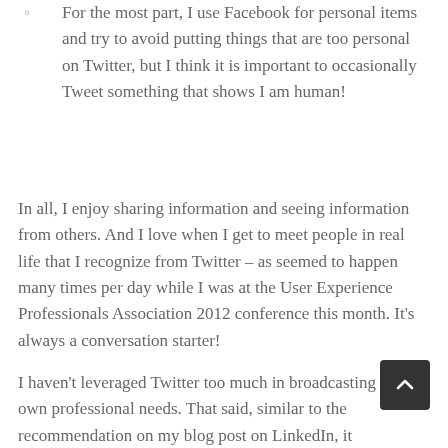For the most part, I use Facebook for personal items and try to avoid putting things that are too personal on Twitter, but I think it is important to occasionally Tweet something that shows I am human!
In all, I enjoy sharing information and seeing information from others. And I love when I get to meet people in real life that I recognize from Twitter – as seemed to happen many times per day while I was at the User Experience Professionals Association 2012 conference this month. It's always a conversation starter!
I haven't leveraged Twitter too much in broadcasting my own professional needs. That said, similar to the recommendation on my blog post on LinkedIn, it